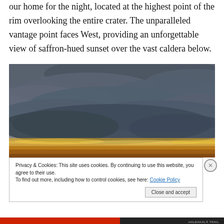our home for the night, located at the highest point of the rim overlooking the entire crater. The unparalleled vantage point faces West, providing an unforgettable view of saffron-hued sunset over the vast caldera below.
[Figure (photo): A dramatic sky photo showing dark storm clouds with a strip of golden sunset light along the horizon below the clouds.]
Privacy & Cookies: This site uses cookies. By continuing to use this website, you agree to their use.
To find out more, including how to control cookies, see here: Cookie Policy
Close and accept